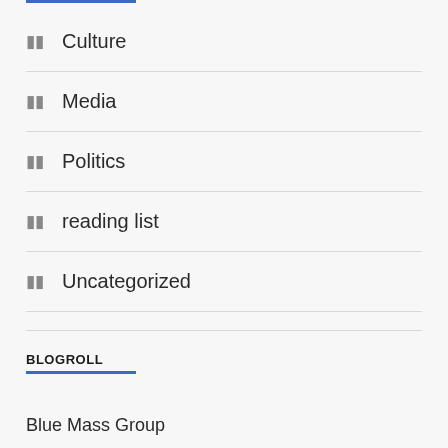Culture
Media
Politics
reading list
Uncategorized
BLOGROLL
Blue Mass Group